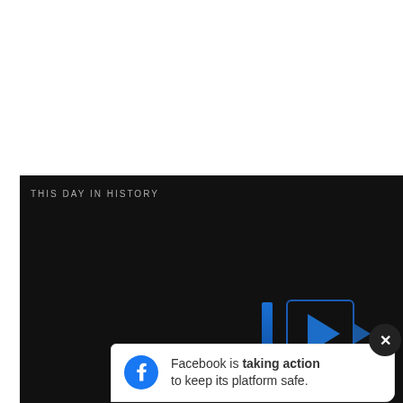[Figure (screenshot): Twitter/X tweet card from Coach Kelvin Sampson with a video overlay showing 'THIS DAY IN HISTORY' with play button, mute icon, and progress bar. Tweet text reads about thinking coaches men's and women's HS, JC, every level of college D1, D2, D3 and NAIA... if you can, please send 20 of your so... Ke... A Facebook banner is taking action to keep its platform safe overlay appears at bottom.]
Coach Kelvin Sampson
THIS DAY IN HISTORY
AUGUST
think coaches men's and women's HS, JC, every level of college D1, D2, D3 and NAIA... if you can, please send 20 of your so Ke
Facebook is taking action to keep its platform safe.